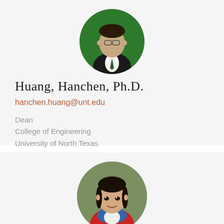[Figure (photo): Circular portrait photo of Huang, Hanchen — man in dark suit with tie, green background]
Huang, Hanchen, Ph.D.
hanchen.huang@unt.edu
Dean
College of Engineering
University of North Texas
[Figure (photo): Circular portrait photo of Huang, Yan — woman in red jacket with blue scarf, outdoor background]
Huang, Yan, Ph.D.
huangyan@unt.edu